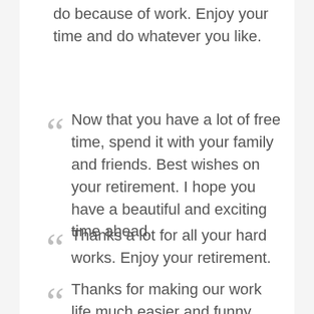do because of work. Enjoy your time and do whatever you like.
Now that you have a lot of free time, spend it with your family and friends. Best wishes on your retirement. I hope you have a beautiful and exciting time ahead.
Thanks a lot for all your hard works. Enjoy your retirement.
Thanks for making our work life much easier and funny. Now you